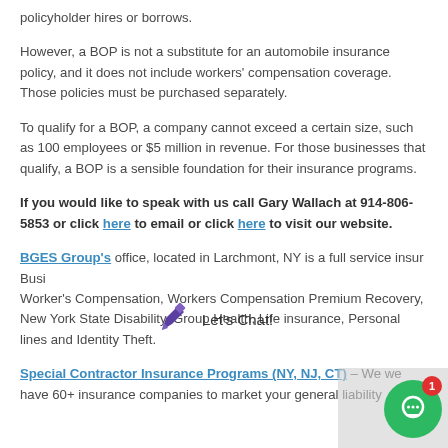policyholder hires or borrows.
However, a BOP is not a substitute for an automobile insurance policy, and it does not include workers' compensation coverage. Those policies must be purchased separately.
To qualify for a BOP, a company cannot exceed a certain size, such as 100 employees or $5 million in revenue. For those businesses that qualify, a BOP is a sensible foundation for their insurance programs.
If you would like to speak with us call Gary Wallach at 914-806-5853 or click here to email or click here to visit our website.
BGES Group's office, located in Larchmont, NY is a full service insur... Busi... Worker's Compensation, Workers Compensation Premium Recovery, New York State Disability, Group Health, Life insurance, Personal lines and Identity Theft.
Special Contractor Insurance Programs (NY, NJ, CT) – We we have 60+ insurance companies to market your general liability